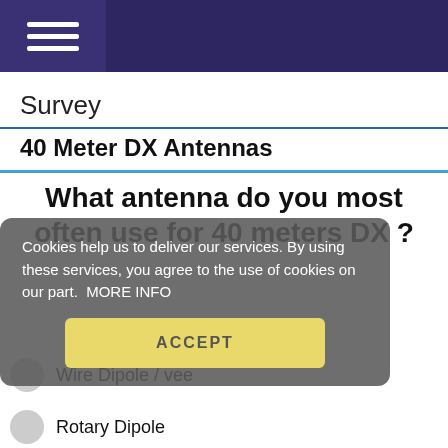Navigation menu bar with hamburger icon
Survey
40 Meter DX Antennas
What antenna do you most often use for 40 meters DX ?
Cookies help us to deliver our services. By using these services, you agree to the use of cookies on our part.  MORE INFO
ACCEPT
Wire Dipole / vee
Rotary Dipole